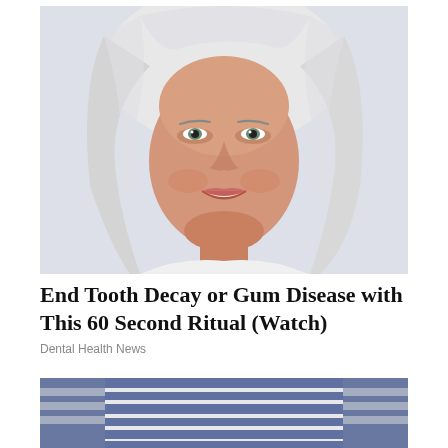[Figure (photo): Portrait photo of a smiling older woman with long silver-white hair against a light background]
End Tooth Decay or Gum Disease with This 60 Second Ritual (Watch)
Dental Health News
[Figure (photo): Partial photo of a person wearing a blue and white striped shirt, cropped at bottom of page]